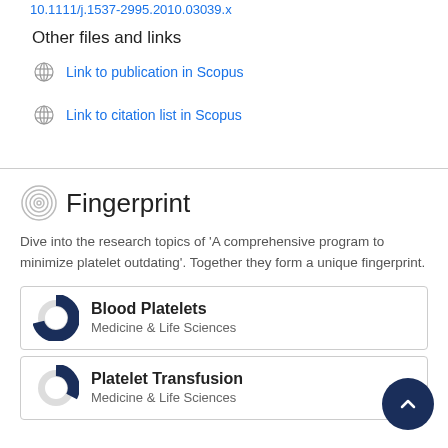10.1111/j.1537-2995.2010.03039.x
Other files and links
Link to publication in Scopus
Link to citation list in Scopus
Fingerprint
Dive into the research topics of 'A comprehensive program to minimize platelet outdating'. Together they form a unique fingerprint.
[Figure (donut-chart): Donut chart for Blood Platelets, approximately 60% filled in dark blue]
[Figure (donut-chart): Donut chart for Platelet Transfusion, approximately 35% filled in dark blue]